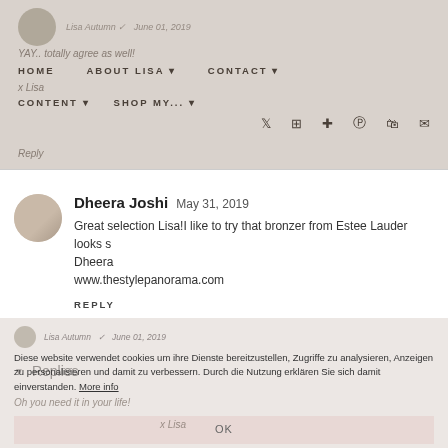HOME | ABOUT LISA | CONTACT | CONTENT | SHOP MY...
Lisa Autumn · June 01, 2019
YAY.. totally agree as well!
x Lisa
Reply
Dheera Joshi  May 31, 2019
Great selection Lisa!I like to try that bronzer from Estee Lauder looks s
Dheera
www.thestylepanorama.com
REPLY
▼ Replies
Lisa Autumn · June 01, 2019
Oh you need it in your life!
x Lisa
Diese website verwendet cookies um ihre Dienste bereitzustellen, Zugriffe zu analysieren, Anzeigen zu personalisieren und damit zu verbessern. Durch die Nutzung erklären Sie sich damit einverstanden. More info
OK